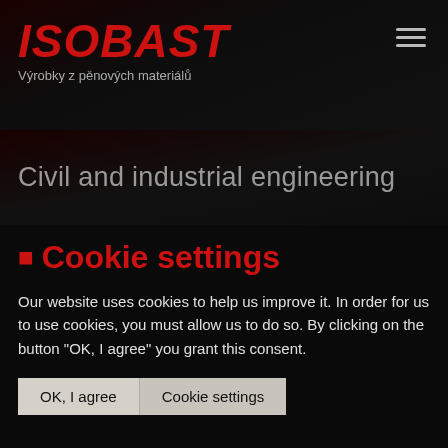ISOBAST – Výrobky z pěnových materiálů
Civil and industrial engineering
Cookie settings
Our website uses cookies to help us improve it. In order for us to use cookies, you must allow us to do so. By clicking on the button "OK, I agree" you grant this consent.
OK, I agree | Cookie settings